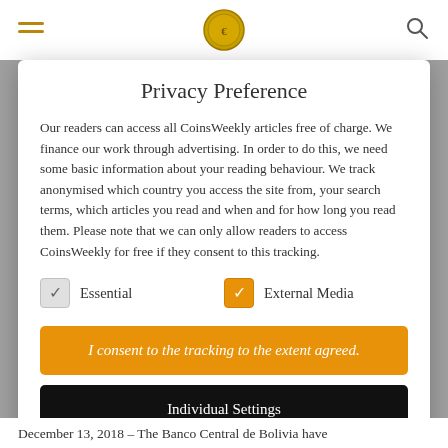Privacy Preference
Our readers can access all CoinsWeekly articles free of charge. We finance our work through advertising. In order to do this, we need some basic information about your reading behaviour. We track anonymised which country you access the site from, your search terms, which articles you read and when and for how long you read them. Please note that we can only allow readers to access CoinsWeekly for free if they consent to this tracking.
Essential (unchecked)
External Media (checked)
I consent to the tracking to the extent agreed.
Individual Settings
December 13, 2018 – The Banco Central de Bolivia have